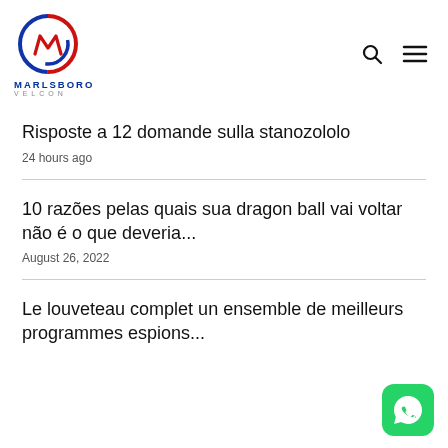[Figure (logo): Marlsboro Velcon logo with circular emblem in red and blue, company name below]
Risposte a 12 domande sulla stanozololo
24 hours ago
10 razões pelas quais sua dragon ball vai voltar não é o que deveria...
August 26, 2022
Le louveteau complet un ensemble de meilleurs programmes espions...
[Figure (logo): WhatsApp green icon button in bottom right corner]